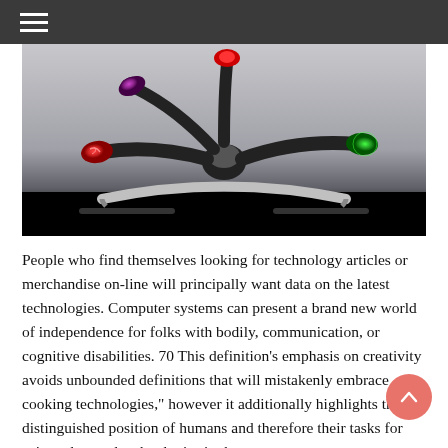[Figure (photo): Close-up photo of a multi-armed device with colored LED tips (red, green, purple) on black flexible arms mounted on a metallic stand, against a gray background with a black banner at the bottom.]
People who find themselves looking for technology articles or merchandise on-line will principally want data on the latest technologies. Computer systems can present a brand new world of independence for folks with bodily, communication, or cognitive disabilities. 70 This definition's emphasis on creativity avoids unbounded definitions that will mistakenly embrace cooking technologies," however it additionally highlights the distinguished position of humans and therefore their tasks for using advanced technologies in these.